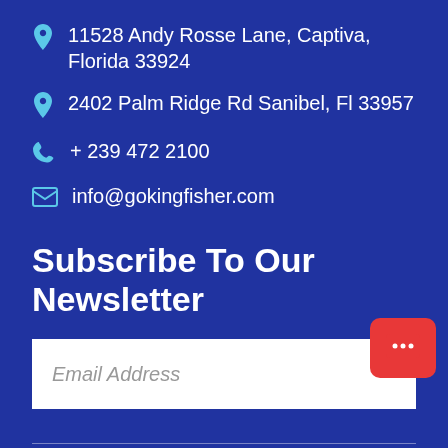11528 Andy Rosse Lane, Captiva, Florida 33924
2402 Palm Ridge Rd Sanibel, Fl 33957
+ 239 472 2100
info@gokingfisher.com
Subscribe To Our Newsletter
Email Address
Home   About Us   Contact Us